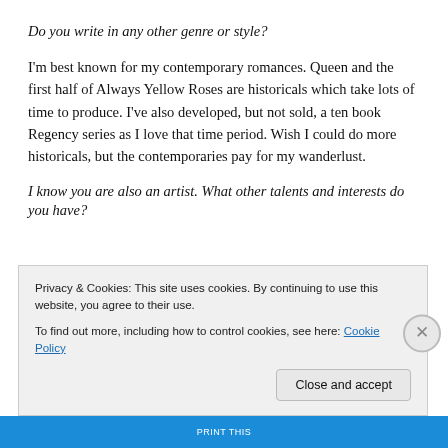Do you write in any other genre or style?
I'm best known for my contemporary romances. Queen and the first half of Always Yellow Roses are historicals which take lots of time to produce. I've also developed, but not sold, a ten book Regency series as I love that time period. Wish I could do more historicals, but the contemporaries pay for my wanderlust.
I know you are also an artist. What other talents and interests do you have?
Privacy & Cookies: This site uses cookies. By continuing to use this website, you agree to their use.
To find out more, including how to control cookies, see here: Cookie Policy
Close and accept